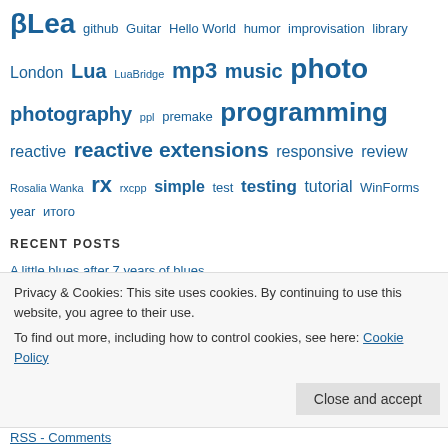βLea github Guitar Hello World humor improvisation library London Lua LuaBridge mp3 music photo photography ppl premake programming reactive reactive extensions responsive review Rosalia Wanka rx rxcpp simple test testing tutorial WinForms year итого
RECENT POSTS
A little blues after 7 years of blues
Reactive Extensions Example for the Browser
Self-contained GoCD Environment Using Docker-Compose
Batching Data by Time or Count Using Reactive Extensions (Rx)
Итого: 2016 / Balance: 2016
Privacy & Cookies: This site uses cookies. By continuing to use this website, you agree to their use. To find out more, including how to control cookies, see here: Cookie Policy
RSS - Comments